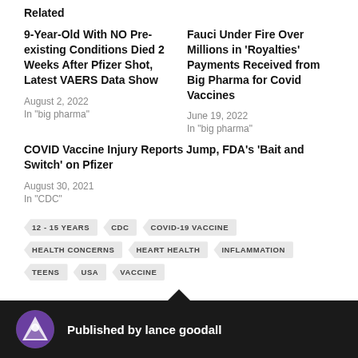Related
9-Year-Old With NO Pre-existing Conditions Died 2 Weeks After Pfizer Shot, Latest VAERS Data Show
August 2, 2022
In "big pharma"
Fauci Under Fire Over Millions in 'Royalties' Payments Received from Big Pharma for Covid Vaccines
June 19, 2022
In "big pharma"
COVID Vaccine Injury Reports Jump, FDA's 'Bait and Switch' on Pfizer
August 30, 2021
In "CDC"
12 - 15 YEARS
CDC
COVID-19 VACCINE
HEALTH CONCERNS
HEART HEALTH
INFLAMMATION
TEENS
USA
VACCINE
Published by lance goodall